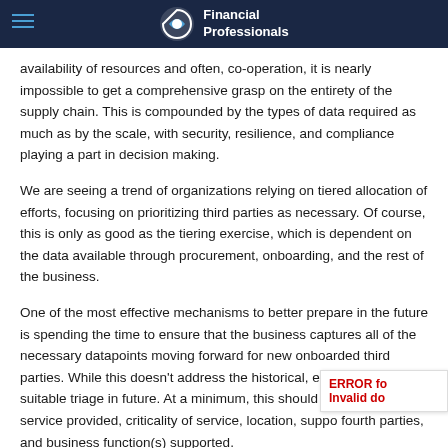CeFPro Financial Professionals
availability of resources and often, co-operation, it is nearly impossible to get a comprehensive grasp on the entirety of the supply chain. This is compounded by the types of data required as much as by the scale, with security, resilience, and compliance playing a part in decision making.
We are seeing a trend of organizations relying on tiered allocation of efforts, focusing on prioritizing third parties as necessary. Of course, this is only as good as the tiering exercise, which is dependent on the data available through procurement, onboarding, and the rest of the business.
One of the most effective mechanisms to better prepare in the future is spending the time to ensure that the business captures all of the necessary datapoints moving forward for new onboarded third parties. While this doesn’t address the historical, entities, it enables suitable triage in future. At a minimum, this should include spend, service provided, criticality of service, location, suppo fourth parties, and business function(s) supported.
For the existing legacy, we recommend leveraging what